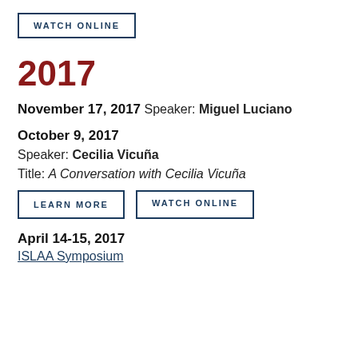WATCH ONLINE
2017
November 17, 2017 Speaker: Miguel Luciano
October 9, 2017
Speaker: Cecilia Vicuña
Title: A Conversation with Cecilia Vicuña
LEARN MORE   WATCH ONLINE
April 14-15, 2017
ISLAA Symposium